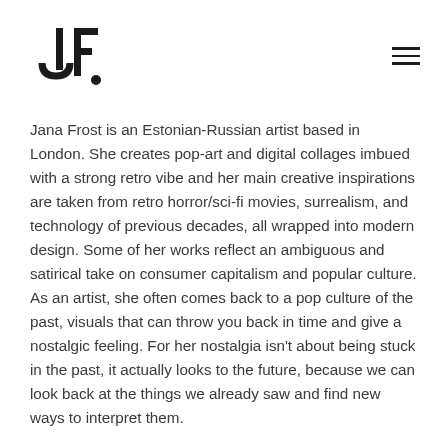JF. [hamburger menu]
Jana Frost is an Estonian-Russian artist based in London. She creates pop-art and digital collages imbued with a strong retro vibe and her main creative inspirations are taken from retro horror/sci-fi movies, surrealism, and technology of previous decades, all wrapped into modern design. Some of her works reflect an ambiguous and satirical take on consumer capitalism and popular culture. As an artist, she often comes back to a pop culture of the past, visuals that can throw you back in time and give a nostalgic feeling. For her nostalgia isn't about being stuck in the past, it actually looks to the future, because we can look back at the things we already saw and find new ways to interpret them.
The artist wants to change people's perception when they think about posters or collages and show that there is more depth to this medium than they expect. Her recurrent subject of aliens can symbolize many different things, however to Frost it really symbolizes being an alien in your own country, having an identity crisis and feeling outcast. One of